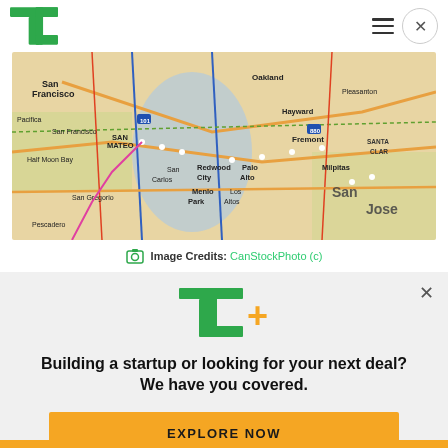TechCrunch
[Figure (map): Map of San Francisco Bay Area showing cities including San Francisco, Oakland, Hayward, Fremont, San Jose, Palo Alto, Redwood City, Menlo Park, Los Altos, Milpitas, and surrounding areas with road networks and geographical features.]
Image Credits: CanStockPhoto (c)
[Figure (logo): TC+ logo in green and yellow]
Building a startup or looking for your next deal? We have you covered.
EXPLORE NOW